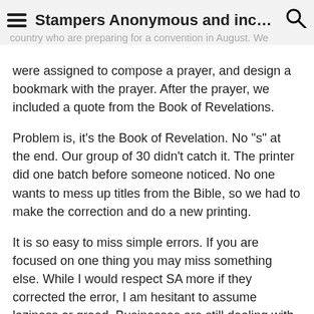Stampers Anonymous and inco…
country who are preparing for a convention in August. We were assigned to compose a prayer, and design a bookmark with the prayer. After the prayer, we included a quote from the Book of Revelations.
Problem is, it's the Book of Revelation. No "s" at the end. Our group of 30 didn't catch it. The printer did one batch before someone noticed. No one wants to mess up titles from the Bible, so we had to make the correction and do a new printing.
It is so easy to miss simple errors. If you are focused on one thing you may miss something else. While I would respect SA more if they corrected the error, I am hesitant to assume laziness or greed. Businesses are still dealing with pandemic-related economics.
Having said that, I won't order the set in question. It would